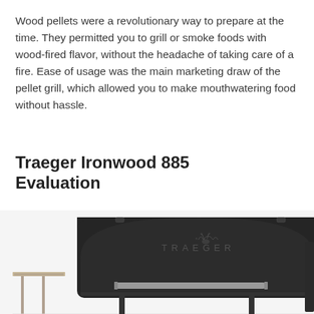Wood pellets were a revolutionary way to prepare at the time. They permitted you to grill or smoke foods with wood-fired flavor, without the headache of taking care of a fire. Ease of usage was the main marketing draw of the pellet grill, which allowed you to make mouthwatering food without hassle.
Traeger Ironwood 885 Evaluation
[Figure (photo): Photo of a Traeger Ironwood 885 pellet grill, showing the black cylindrical body with the TRAEGER logo on the lid, a handle bar on the front lower section, a side shelf on the left, and a digital controller on the right.]